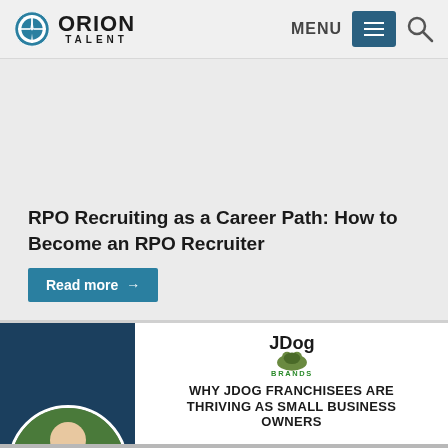Orion Talent — MENU
[Figure (screenshot): Orion Talent logo with compass rose icon and MENU navigation with hamburger icon and search icon]
RPO Recruiting as a Career Path: How to Become an RPO Recruiter
Read more →
[Figure (photo): JDog Brands promotional image showing a man in uniform with trucks, JDog Brands logo, and text WHY JDOG FRANCHISEES ARE THRIVING AS SMALL BUSINESS OWNERS with truck imagery and chat bubble icon]